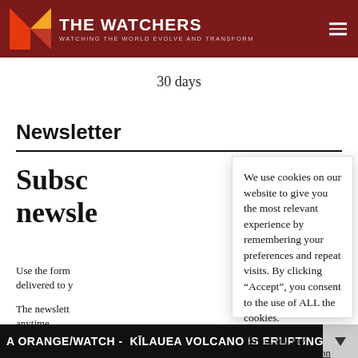THE WATCHERS — WATCHING THE WORLD EVOLVE AND TRANSFORM
30 days
Newsletter
Subscribe to our newsletter
Use the form below to subscribe. Newsletters will be delivered to your inbox.
The newsletter can be unsubscribed anytime.
We use cookies on our website to give you the most relevant experience by remembering your preferences and repeat visits. By clicking "Accept", you consent to the use of ALL the cookies.
Do not sell my personal information.
A ORANGE/WATCH - KĪLAUEA VOLCANO IS ERUPTING WITHIN